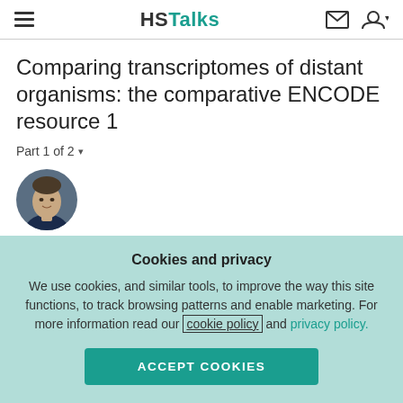HSTalks
Comparing transcriptomes of distant organisms: the comparative ENCODE resource 1
Part 1 of 2
[Figure (photo): Circular portrait photo of Prof. Mark Gerstein]
Prof. Mark Gerstein – Yale University, USA
Published on August 31, 2017  •  33 min
Cookies and privacy
We use cookies, and similar tools, to improve the way this site functions, to track browsing patterns and enable marketing. For more information read our cookie policy and privacy policy.
ACCEPT COOKIES